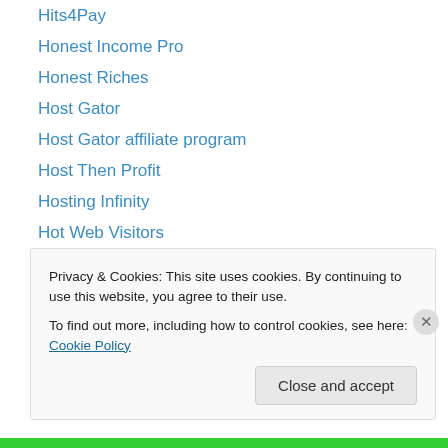Hits4Pay
Honest Income Pro
Honest Riches
Host Gator
Host Gator affiliate program
Host Then Profit
Hosting Infinity
Hot Web Visitors
Hourly Bux
Hourly Rev Share
Hourly RevShare
How to Cancel Pure Leverage
How to Make Money With Google
Privacy & Cookies: This site uses cookies. By continuing to use this website, you agree to their use.
To find out more, including how to control cookies, see here: Cookie Policy
Close and accept